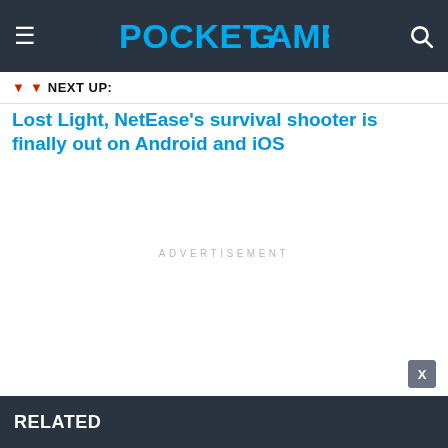PocketGamer.com
NEXT UP:
Lost Light, NetEase's survival shooter is finally out on Android and iOS
ADVERTISEMENT
RELATED